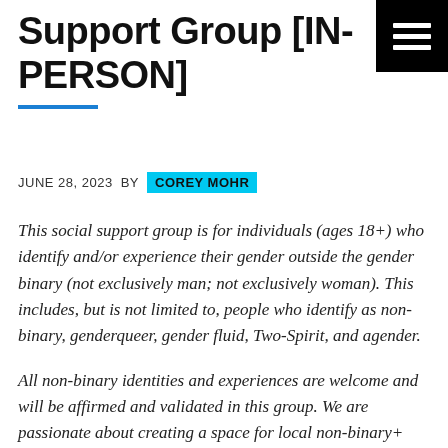Support Group [IN-PERSON]
JUNE 28, 2023 BY COREY MOHR
This social support group is for individuals (ages 18+) who identify and/or experience their gender outside the gender binary (not exclusively man; not exclusively woman).  This includes, but is not limited to, people who identify as non-binary, genderqueer, gender fluid, Two-Spirit, and agender.
All non-binary identities and experiences are welcome and will be affirmed and validated in this group.  We are passionate about creating a space for local non-binary+ folks to be their authentic selves, find and provide support, share resources, and build community.  For more info, please